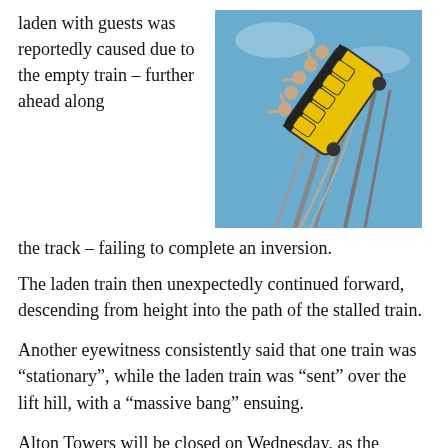laden with guests was reportedly caused due to the empty train – further ahead along the track – failing to complete an inversion.
[Figure (photo): Photograph of a roller coaster (appearing to be The Smiler at Alton Towers) with passengers wearing yellow restraints, photographed from below at a steep angle against a blue sky.]
The laden train then unexpectedly continued forward, descending from height into the path of the stalled train.
Another eyewitness consistently said that one train was “stationary”, while the laden train was “sent” over the lift hill, with a “massive bang” ensuing.
Alton Towers will be closed on Wednesday, as the